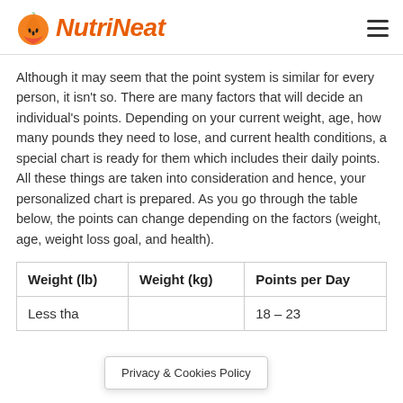NutriNeat
Although it may seem that the point system is similar for every person, it isn't so. There are many factors that will decide an individual's points. Depending on your current weight, age, how many pounds they need to lose, and current health conditions, a special chart is ready for them which includes their daily points. All these things are taken into consideration and hence, your personalized chart is prepared. As you go through the table below, the points can change depending on the factors (weight, age, weight loss goal, and health).
| Weight (lb) | Weight (kg) | Points per Day |
| --- | --- | --- |
| Less tha... |  | 18 – 23 |
Privacy & Cookies Policy